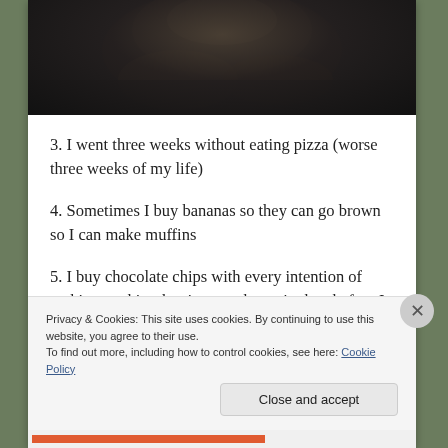[Figure (photo): Dark, moody black and white photograph of a person's face in shadow, appearing to eat something. Very low light, high contrast image.]
3. I went three weeks without eating pizza (worse three weeks of my life)
4. Sometimes I buy bananas so they can go brown so I can make muffins
5. I buy chocolate chips with every intention of making cookies, but just eat the entire bag before I get a chance
Privacy & Cookies: This site uses cookies. By continuing to use this website, you agree to their use.
To find out more, including how to control cookies, see here: Cookie Policy
Close and accept